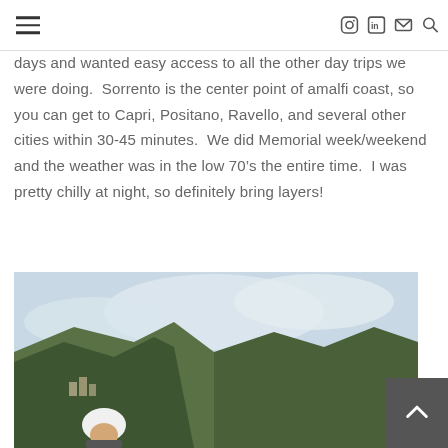[hamburger menu] [Instagram] [LinkedIn] [Email] [Search]
easy to navigate. We chose to stay in Sorrento because we were only there days and wanted easy access to all the other day trips we were doing.  Sorrento is the center point of amalfi coast, so you can get to Capri, Positano, Ravello, and several other cities within 30-45 minutes.  We did Memorial week/weekend and the weather was in the low 70’s the entire time.  I was pretty chilly at night, so definitely bring layers!
[Figure (photo): A person wearing a white helmet standing in front of a scenic mountainous coastal landscape, likely the Amalfi coast, with dramatic cliffs and cloudy sky in the background.]